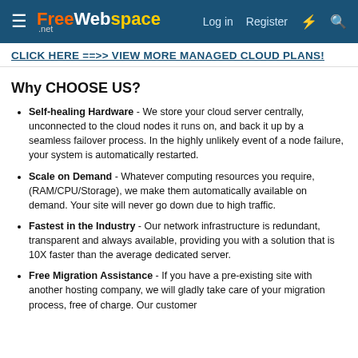FreeWebspace.net — Log in | Register
CLICK HERE ==>> VIEW MORE MANAGED CLOUD PLANS!
Why CHOOSE US?
Self-healing Hardware - We store your cloud server centrally, unconnected to the cloud nodes it runs on, and back it up by a seamless failover process. In the highly unlikely event of a node failure, your system is automatically restarted.
Scale on Demand - Whatever computing resources you require, (RAM/CPU/Storage), we make them automatically available on demand. Your site will never go down due to high traffic.
Fastest in the Industry - Our network infrastructure is redundant, transparent and always available, providing you with a solution that is 10X faster than the average dedicated server.
Free Migration Assistance - If you have a pre-existing site with another hosting company, we will gladly take care of your migration process, free of charge. Our customer